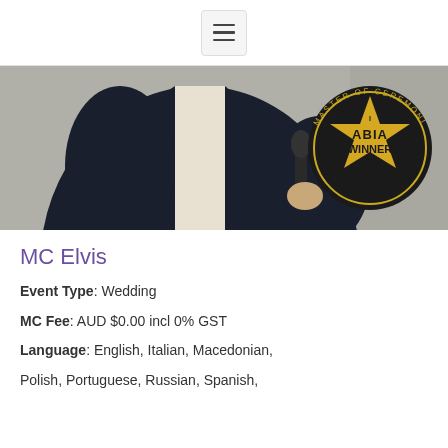[Figure (other): Hamburger menu button icon with three horizontal lines on a light gray rounded rectangle background]
[Figure (photo): A man in a dark suit holding a microphone, with an ABIA Winner 2016 Master of Ceremonies award badge visible in the frame]
MC Elvis
Event Type: Wedding
MC Fee: AUD $0.00 incl 0% GST
Language: English, Italian, Macedonian,
Polish, Portuguese, Russian, Spanish,